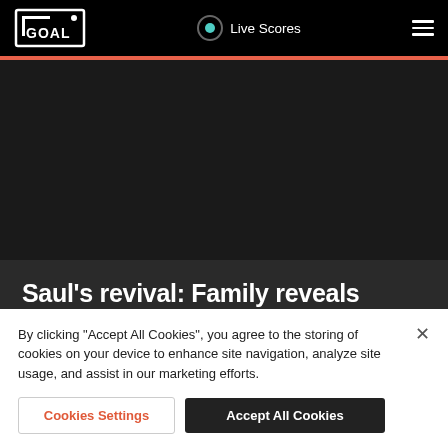GOAL | Live Scores
[Figure (logo): GOAL logo in white on black background]
Saul's revival: Family reveals dedication behind Chelsea loanee's bid to impress
By clicking “Accept All Cookies”, you agree to the storing of cookies on your device to enhance site navigation, analyze site usage, and assist in our marketing efforts.
Cookies Settings | Accept All Cookies